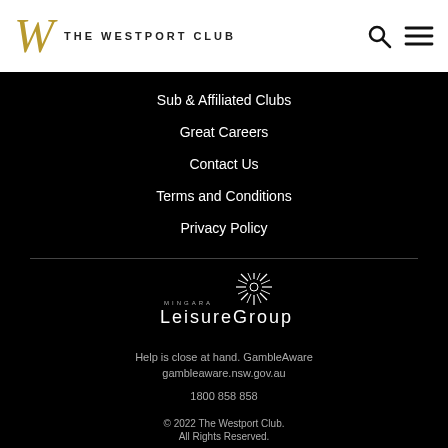THE WESTPORT CLUB
Sub & Affiliated Clubs
Great Careers
Contact Us
Terms and Conditions
Privacy Policy
[Figure (logo): Mingara Leisure Group logo with starburst/fireworks graphic above the text 'MINGARA LEISUREGROUP']
Help is close at hand. GambleAware
gambleaware.nsw.gov.au
1800 858 858
© 2022 The Westport Club. All Rights Reserved.